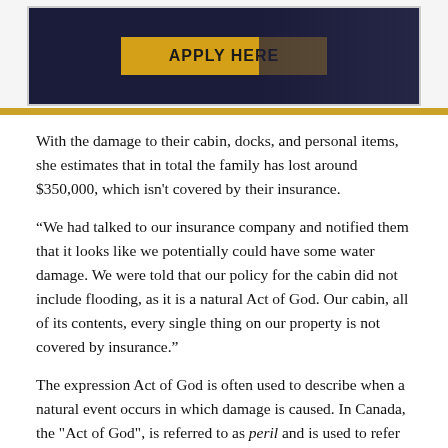[Figure (photo): Banner image with dark navy background showing a person and a yellow 'APPLY HERE' button]
With the damage to their cabin, docks, and personal items, she estimates that in total the family has lost around $350,000, which isn't covered by their insurance.
“We had talked to our insurance company and notified them that it looks like we potentially could have some water damage. We were told that our policy for the cabin did not include flooding, as it is a natural Act of God. Our cabin, all of its contents, every single thing on our property is not covered by insurance.”
The expression Act of God is often used to describe when a natural event occurs in which damage is caused. In Canada, the "Act of God", is referred to as peril and is used to refer to types of losses covered in the Canadian insurance industry. Most perils that would be considered